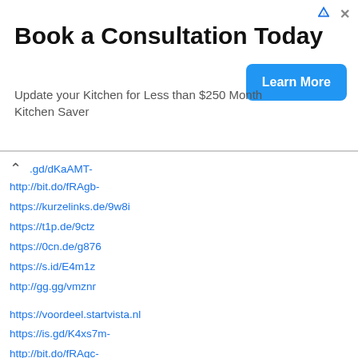[Figure (other): Advertisement banner: 'Book a Consultation Today' with subtitle 'Update your Kitchen for Less than $250 Month Kitchen Saver' and a blue 'Learn More' button]
.gd/dKaAMT-
http://bit.do/fRAgb-
https://kurzelinks.de/9w8i
https://t1p.de/9ctz
https://0cn.de/g876
https://s.id/E4m1z
http://gg.gg/vmznr
https://voordeel.startvista.nl
https://is.gd/K4xs7m-
http://bit.do/fRAgc-
https://kurzelinks.de/0dyz
https://t1p.de/4lti
https://0cn.de/f48u
https://s.id/E4mmc
http://gg.gg/vmzo0
https://voordeel.startguide.nl/